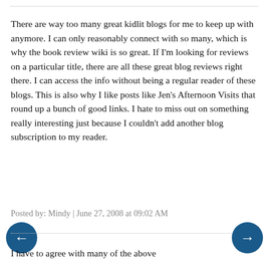There are way too many great kidlit blogs for me to keep up with anymore. I can only reasonably connect with so many, which is why the book review wiki is so great. If I'm looking for reviews on a particular title, there are all these great blog reviews right there. I can access the info without being a regular reader of these blogs. This is also why I like posts like Jen's Afternoon Visits that round up a bunch of good links. I hate to miss out on something really interesting just because I couldn't add another blog subscription to my reader.
Posted by: Mindy | June 27, 2008 at 09:02 AM
I have to agree with many of the above